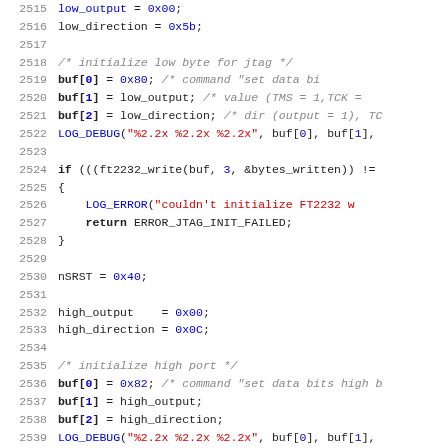Source code listing, lines 2515-2547, C programming language with JTAG/FT2232 initialization code